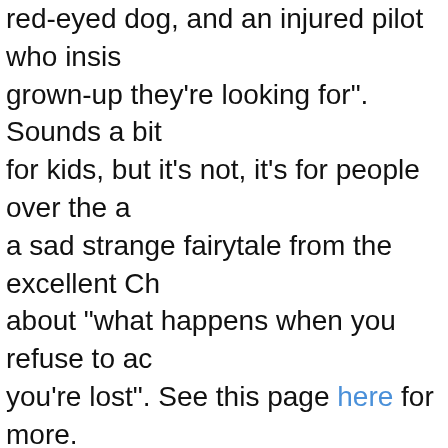red-eyed dog, and an injured pilot who insists they're not the grown-up they're looking for". Sounds a bit for kids, but it's not, it's for people over the age of... it's a sad strange fairytale from the excellent Ch... about "what happens when you refuse to accept help when you're lost". See this page here for more.
FRIDAY IN LONDON
[Figure (photo): A performer or dancer with wild dark hair, wearing a black bodysuit, leaning forward dramatically against a stone/brick wall background with warm golden/amber lighting.]